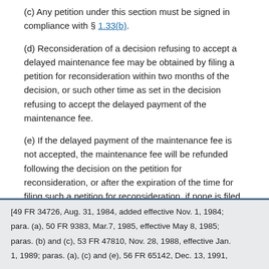(c) Any petition under this section must be signed in compliance with § 1.33(b).
(d) Reconsideration of a decision refusing to accept a delayed maintenance fee may be obtained by filing a petition for reconsideration within two months of the decision, or such other time as set in the decision refusing to accept the delayed payment of the maintenance fee.
(e) If the delayed payment of the maintenance fee is not accepted, the maintenance fee will be refunded following the decision on the petition for reconsideration, or after the expiration of the time for filing such a petition for reconsideration, if none is filed.
[49 FR 34726, Aug. 31, 1984, added effective Nov. 1, 1984; para. (a), 50 FR 9383, Mar.7, 1985, effective May 8, 1985; paras. (b) and (c), 53 FR 47810, Nov. 28, 1988, effective Jan. 1, 1989; paras. (a), (c) and (e), 56 FR 65142, Dec. 13, 1991,